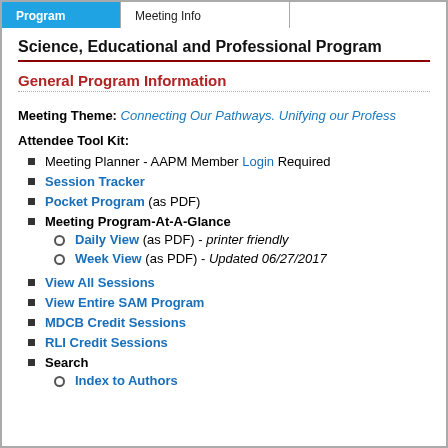[Tab navigation bar with active tab and inactive tabs]
Science, Educational and Professional Program
General Program Information
Meeting Theme: Connecting Our Pathways. Unifying our Profess...
Attendee Tool Kit:
Meeting Planner - AAPM Member Login Required
Session Tracker
Pocket Program (as PDF)
Meeting Program-At-A-Glance
Daily View (as PDF) - printer friendly
Week View (as PDF) - Updated 06/27/2017
View All Sessions
View Entire SAM Program
MDCB Credit Sessions
RLI Credit Sessions
Search
Index to Authors